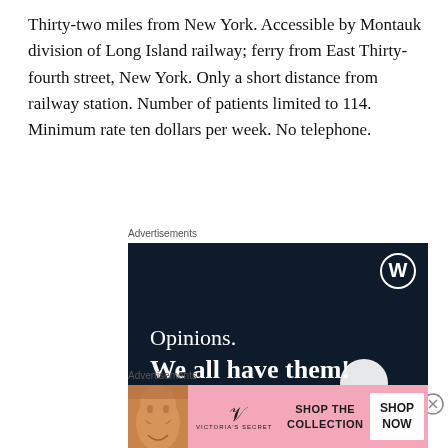Thirty-two miles from New York. Accessible by Montauk division of Long Island railway; ferry from East Thirty-fourth street, New York. Only a short distance from railway station. Number of patients limited to 114. Minimum rate ten dollars per week. No telephone.
Advertisements
[Figure (other): WordPress advertisement: dark navy background with WordPress logo (W in circle) in top right. Text reads 'Opinions.' and 'We all have them!' in white. Pink button at bottom left. White circle at bottom right.]
Advertisements
[Figure (other): Victoria's Secret advertisement: pink background with woman's face on left, VS logo and 'VICTORIA'S SECRET' text, 'SHOP THE COLLECTION' text in center, and 'SHOP NOW' white button on right.]